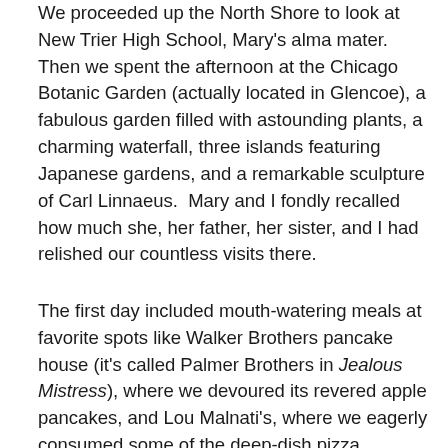We proceeded up the North Shore to look at New Trier High School, Mary's alma mater.  Then we spent the afternoon at the Chicago Botanic Garden (actually located in Glencoe), a fabulous garden filled with astounding plants, a charming waterfall, three islands featuring Japanese gardens, and a remarkable sculpture of Carl Linnaeus.  Mary and I fondly recalled how much she, her father, her sister, and I had relished our countless visits there.
The first day included mouth-watering meals at favorite spots like Walker Brothers pancake house (it's called Palmer Brothers in Jealous Mistress), where we devoured its revered apple pancakes, and Lou Malnati's, where we eagerly consumed some of the deep-dish pizza Chicago has made famous.